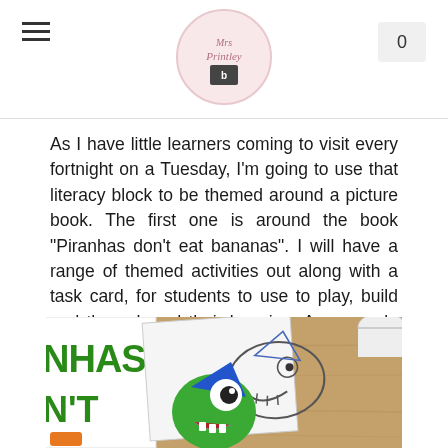Mrs Printley logo header with hamburger menu and cart button showing 0
As I have little learners coming to visit every fortnight on a Tuesday, I'm going to use that literacy block to be themed around a picture book. The first one is around the book "Piranhas don't eat bananas". I will have a range of themed activities out along with a task card, for students to use to play, build and then shared their learning. An example is one in the picture below - a piranha peg!
[Figure (photo): Photo of a wooden table with a children's picture book (Piranhas don't eat bananas) on the left showing green text, a worksheet paper, and a green piranha craft/peg toy with blue fin and large eye in the center.]